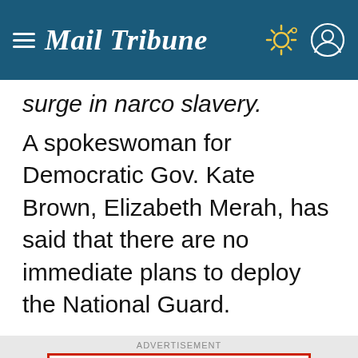Mail Tribune
surge in narco slavery.
A spokeswoman for Democratic Gov. Kate Brown, Elizabeth Merah, has said that there are no immediate plans to deploy the National Guard.
[Figure (illustration): MSHS 60th Class Reunion 1962 with Classes of '60 & '61 advertisement. LET'S MEET, CATCH UP & CELEBRATE with decorative mascot illustration.]
By continuing on this site, you agree to our Privacy Policy.